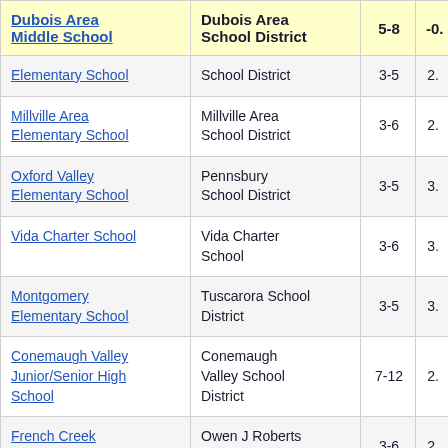| School | District | Grades | Score |
| --- | --- | --- | --- |
| Dubois Area Middle School | Dubois Area School District | 5-8 | -0. |
| Elementary School | School District | 3-5 | 2. |
| Millville Area Elementary School | Millville Area School District | 3-6 | 2. |
| Oxford Valley Elementary School | Pennsbury School District | 3-5 | 3. |
| Vida Charter School | Vida Charter School | 3-6 | 3. |
| Montgomery Elementary School | Tuscarora School District | 3-5 | 3. |
| Conemaugh Valley Junior/Senior High School | Conemaugh Valley School District | 7-12 | 2. |
| French Creek Elementary School | Owen J Roberts School District | 3-6 | 2. |
| Northern Cambria | Northern |  |  |